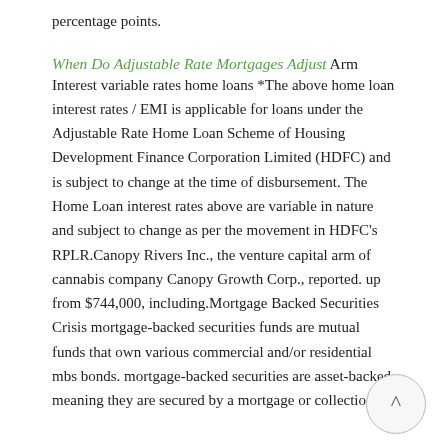percentage points.
When Do Adjustable Rate Mortgages Adjust Arm Interest variable rates home loans *The above home loan interest rates / EMI is applicable for loans under the Adjustable Rate Home Loan Scheme of Housing Development Finance Corporation Limited (HDFC) and is subject to change at the time of disbursement. The Home Loan interest rates above are variable in nature and subject to change as per the movement in HDFC’s RPLR.Canopy Rivers Inc., the venture capital arm of cannabis company Canopy Growth Corp., reported. up from $744,000, including.Mortgage Backed Securities Crisis mortgage-backed securities funds are mutual funds that own various commercial and/or residential mbs bonds. mortgage-backed securities are asset-backed, meaning they are secured by a mortgage or collection of